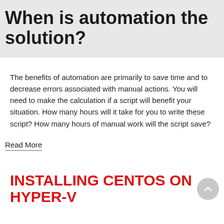When is automation the solution?
The benefits of automation are primarily to save time and to decrease errors associated with manual actions. You will need to make the calculation if a script will benefit your situation. How many hours will it take for you to write these script? How many hours of manual work will the script save?
Read More
INSTALLING CENTOS ON HYPER-V